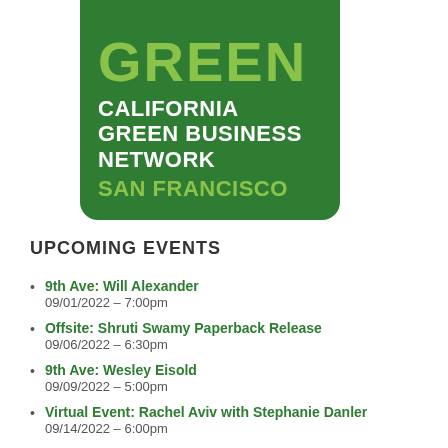[Figure (logo): California Green Business Network San Francisco logo — dark green rounded rectangle with 'GREEN' in lime green at top (partially cropped), 'CALIFORNIA GREEN BUSINESS NETWORK' in white bold text, and 'SAN FRANCISCO' in lime green bold text]
UPCOMING EVENTS
9th Ave: Will Alexander
09/01/2022 – 7:00pm
Offsite: Shruti Swamy Paperback Release
09/06/2022 – 6:30pm
9th Ave: Wesley Eisold
09/09/2022 – 5:00pm
Virtual Event: Rachel Aviv with Stephanie Danler
09/14/2022 – 6:00pm